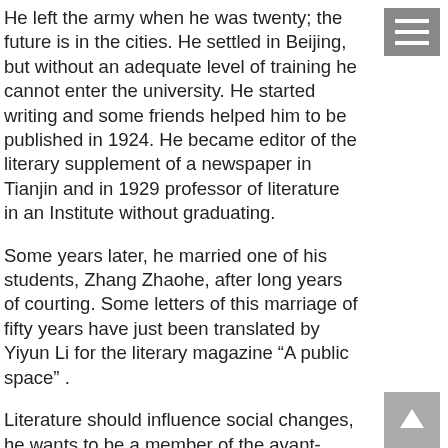He left the army when he was twenty; the future is in the cities. He settled in Beijing, but without an adequate level of training he cannot enter the university. He started writing and some friends helped him to be published in 1924. He became editor of the literary supplement of a newspaper in Tianjin and in 1929 professor of literature in an Institute without graduating.
Some years later, he married one of his students, Zhang Zhaohe, after long years of courting. Some letters of this marriage of fifty years have just been translated by Yiyun Li for the literary magazine “A public space” .
Literature should influence social changes, he wants to be a member of the avant-garde literature and will create a regional literature filled